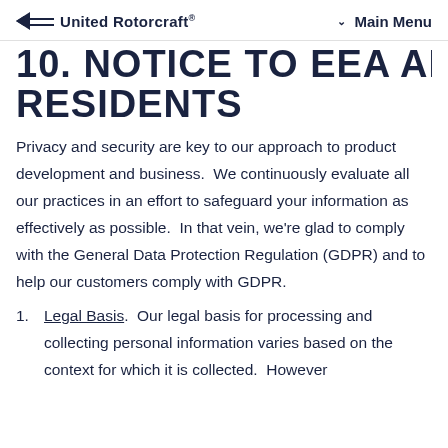United Rotorcraft® | Main Menu
10. NOTICE TO EEA AND UK RESIDENTS
Privacy and security are key to our approach to product development and business.  We continuously evaluate all our practices in an effort to safeguard your information as effectively as possible.  In that vein, we're glad to comply with the General Data Protection Regulation (GDPR) and to help our customers comply with GDPR.
Legal Basis.  Our legal basis for processing and collecting personal information varies based on the context for which it is collected.  However